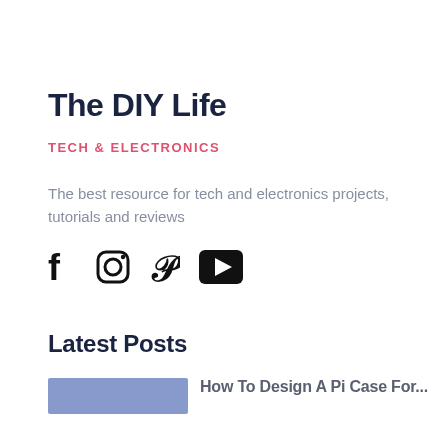The DIY Life
TECH & ELECTRONICS
The best resource for tech and electronics projects, tutorials and reviews
[Figure (infographic): Social media icons: Facebook (f), Instagram (camera), Pinterest (P), YouTube (play button)]
Latest Posts
How To Design A Pi Case For...